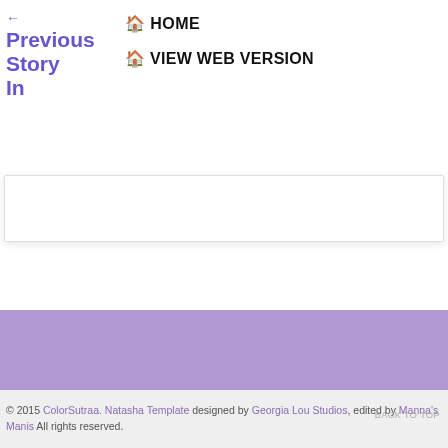← Previous Story In
🏠 HOME
🏠 VIEW WEB VERSION
[Figure (other): White card/box element with drop shadow]
[Figure (other): Purple/lavender horizontal banner bar]
© 2015 ColorSutraa. Natasha Template designed by Georgia Lou Studios, edited by Manna's Manis All rights reserved.
BACK TO TOP